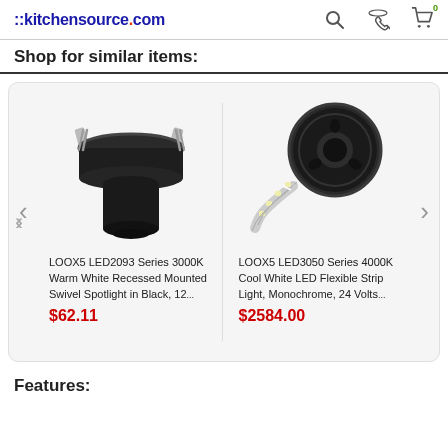::kitchensource.com
Shop for similar items:
[Figure (photo): LOOX5 LED2093 recessed spotlight in black, mushroom-shaped, with metal clips]
LOOX5 LED2093 Series 3000K Warm White Recessed Mounted Swivel Spotlight in Black, 12...
$62.11
[Figure (photo): LOOX5 LED3050 flexible LED strip light on a reel, with strip unrolling]
LOOX5 LED3050 Series 4000K Cool White LED Flexible Strip Light, Monochrome, 24 Volts...
$2584.00
Features: